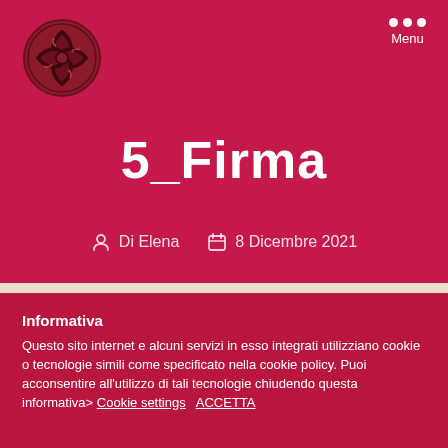[Figure (logo): Circular decorative logo with interlaced knot pattern in dark red/brown on crimson background]
Menu
5_Firma
Di Elena   8 Dicembre 2021
Informativa
Questo sito internet e alcuni servizi in esso integrati utilizziano cookie o tecnologie simili come specificato nella cookie policy. Puoi acconsentire all'utilizzo di tali tecnologie chiudendo questa informativa> Cookie settings  ACCETTA